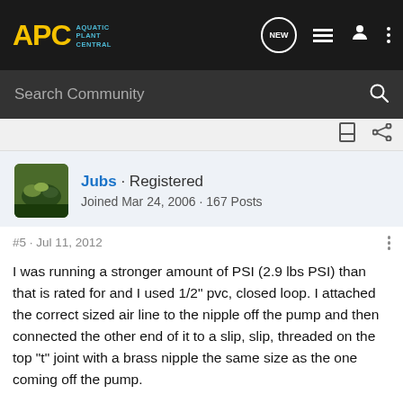[Figure (logo): APC Aquatic Plant Central logo in yellow/gold text on dark background]
Search Community
Jubs · Registered
Joined Mar 24, 2006 · 167 Posts
#5 · Jul 11, 2012
I was running a stronger amount of PSI (2.9 lbs PSI) than that is rated for and I used 1/2" pvc, closed loop. I attached the correct sized air line to the nipple off the pump and then connected the other end of it to a slip, slip, threaded on the top "t" joint with a brass nipple the same size as the one coming off the pump.
I would think you'd get more pressure with smaller PVC since it